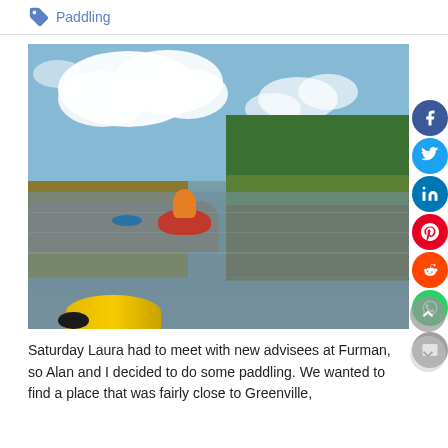Paddling
[Figure (photo): Kayakers paddling on a calm river or creek with green vegetation and trees on the right bank, reeds on the left, and a partly cloudy blue sky. A yellow kayak is visible in the foreground at the bottom, and a red kayak with paddler is visible in the middle distance.]
Saturday Laura had to meet with new advisees at Furman, so Alan and I decided to do some paddling. We wanted to find a place that was fairly close to Greenville,